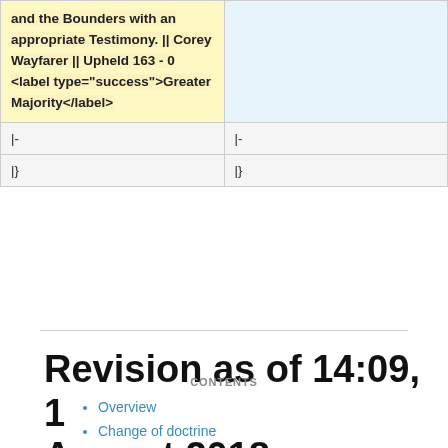| and the Bounders with an appropriate Testimony. || Corey Wayfarer || Upheld 163 - 0 <label type="success">Greater Majority</label> |  |
| |- | |- |
| |} | |} |
Revision as of 14:09, 1 August 2018
CONTENTS
Overview
Change of doctrine
Veto
Statement of principles